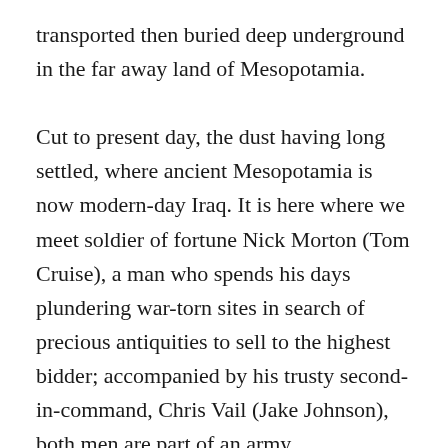transported then buried deep underground in the far away land of Mesopotamia.

Cut to present day, the dust having long settled, where ancient Mesopotamia is now modern-day Iraq. It is here where we meet soldier of fortune Nick Morton (Tom Cruise), a man who spends his days plundering war-torn sites in search of precious antiquities to sell to the highest bidder; accompanied by his trusty second-in-command, Chris Vail (Jake Johnson), both men are part of an army reconnaissance unit stationed in the Middle East. When Nick and Chris secretly infiltrate an Iraqi village to hunt for some treasure, they are stormed by a large number of insurgents, this unexpected setback paving the way for their biggest discovery yet; the unearthing of an Egyptian-like